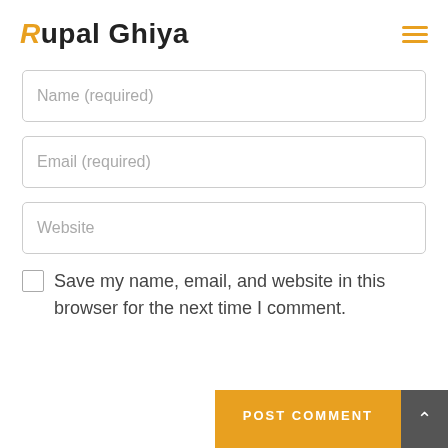Rupal Ghiya
Name (required)
Email (required)
Website
Save my name, email, and website in this browser for the next time I comment.
POST COMMENT